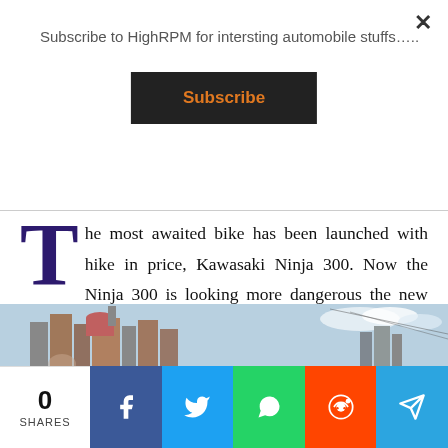Subscribe to HighRPM for intersting automobile stuffs…..
Subscribe
The most awaited bike has been launched with hike in price, Kawasaki Ninja 300. Now the Ninja 300 is looking more dangerous the new ZX kind of touches increasing the temperature and making it hotter than before. The new Ninja 300 is bit sharper now but it lack some important things which are there in its rivals. This Ninja is one of the most affordable Ninja with feel of higher Ninjas. The is Powered by 296cc engine with 6 gears and BS6 emission norms.
[Figure (photo): Street scene with buildings and sky, partially visible]
0
SHARES